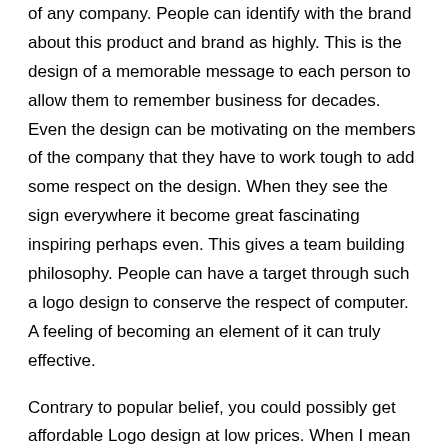of any company. People can identify with the brand about this product and brand as highly. This is the design of a memorable message to each person to allow them to remember business for decades. Even the design can be motivating on the members of the company that they have to work tough to add some respect on the design. When they see the sign everywhere it become great fascinating inspiring perhaps even. This gives a team building philosophy. People can have a target through such a logo design to conserve the respect of computer. A feeling of becoming an element of it can truly effective.
Contrary to popular belief, you could possibly get affordable Logo design at low prices. When I mean low, I mean $200. However, for this price, the designer only requires basic input brought on by. [link] would include involving industry your online business in, preferred logo style such as text, illustration or both, and preferred colors.
But to specifically get the best logo design, you must keep in mind...